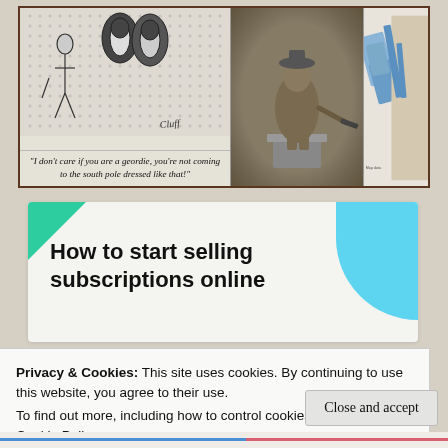[Figure (illustration): Three-panel image strip: left panel shows a black-and-white cartoon of people in winter gear with caption, center panel shows a sepia vintage photo of a small figure on a pedestal, right panel shows a colorful airport map.]
"I don't care if you are a geordie, you're not coming to the south pole dressed like that!"
[Figure (infographic): Advertisement banner with teal triangle top-left, blue shape top-right, and bold text reading 'How to start selling subscriptions online']
Privacy & Cookies: This site uses cookies. By continuing to use this website, you agree to their use.
To find out more, including how to control cookies, see here:
Cookie Policy
Close and accept